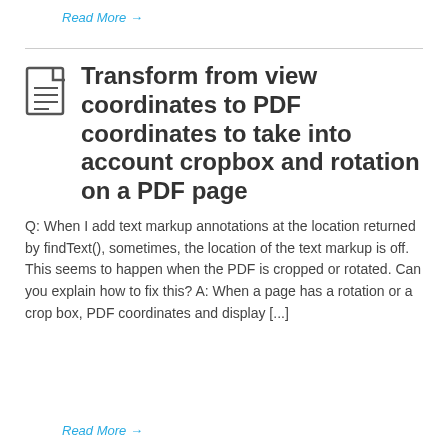Read More →
Transform from view coordinates to PDF coordinates to take into account cropbox and rotation on a PDF page
Q: When I add text markup annotations at the location returned by findText(), sometimes, the location of the text markup is off. This seems to happen when the PDF is cropped or rotated. Can you explain how to fix this? A: When a page has a rotation or a crop box, PDF coordinates and display [...]
Read More →